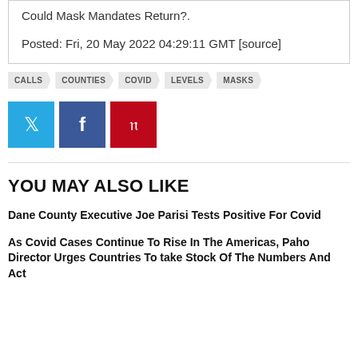Could Mask Mandates Return?.
Posted: Fri, 20 May 2022 04:29:11 GMT [source]
CALLS
COUNTIES
COVID
LEVELS
MASKS
[Figure (infographic): Social sharing buttons: Twitter (blue), Facebook (dark blue), Pinterest (red)]
YOU MAY ALSO LIKE
Dane County Executive Joe Parisi Tests Positive For Covid
As Covid Cases Continue To Rise In The Americas, Paho Director Urges Countries To take Stock Of The Numbers And Act